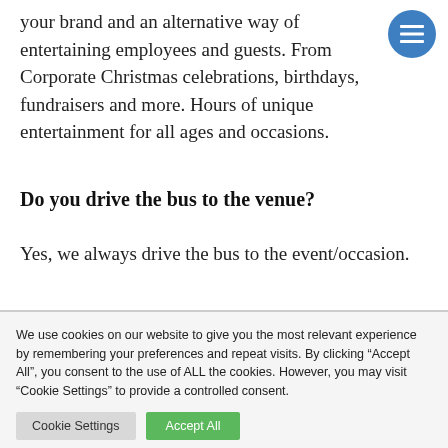your brand and an alternative way of entertaining employees and guests. From Corporate Christmas celebrations, birthdays, fundraisers and more. Hours of unique entertainment for all ages and occasions.
Do you drive the bus to the venue?
Yes, we always drive the bus to the event/occasion.
We use cookies on our website to give you the most relevant experience by remembering your preferences and repeat visits. By clicking “Accept All”, you consent to the use of ALL the cookies. However, you may visit "Cookie Settings" to provide a controlled consent.